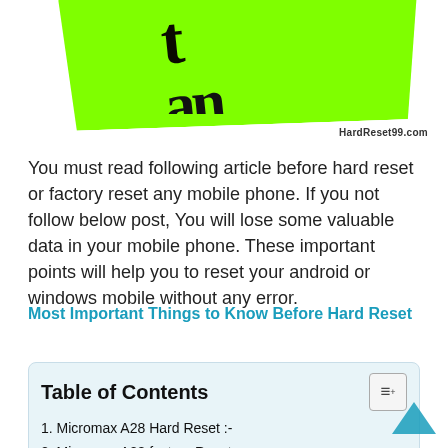[Figure (illustration): Green sticky note banner with handwritten-style text 'Important' in black, partially cropped at top. Watermark 'HardReset99.com' at bottom right.]
You must read following article before hard reset or factory reset any mobile phone. If you not follow below post, You will lose some valuable data in your mobile phone. These important points will help you to reset your android or windows mobile without any error.
Most Important Things to Know Before Hard Reset
Table of Contents
1. Micromax A28 Hard Reset :-
2. Micromax A28 factory Reset :-